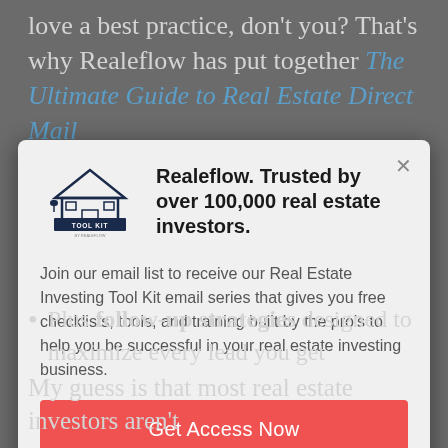love a best practice, don't you? That's why Realeflow has put together The Ultimate Guide to Real Estate Direct Mail
[Figure (screenshot): Modal popup with Realeflow Real Estate Investing Tool Kit logo, title 'Realeflow. Trusted by over 100,000 real estate investors.', body text about joining email list, and a red 'Get Access Now' button]
Plus follow-up strategies designed to maximize every lead you get
My guess is that most real estate investors aren't